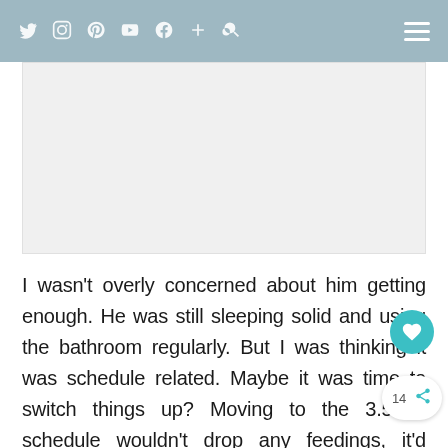Social media navigation bar with icons: Twitter, Instagram, Pinterest, YouTube, Facebook, Plus, Search, and hamburger menu
[Figure (other): Advertisement placeholder area — light grey rectangle]
I wasn't overly concerned about him getting enough. He was still sleeping solid and using the bathroom regularly. But I was thinking it was schedule related. Maybe it was time to switch things up? Moving to the 3.5 hr schedule wouldn't drop any feedings, it'd spread them out differently so I debated going